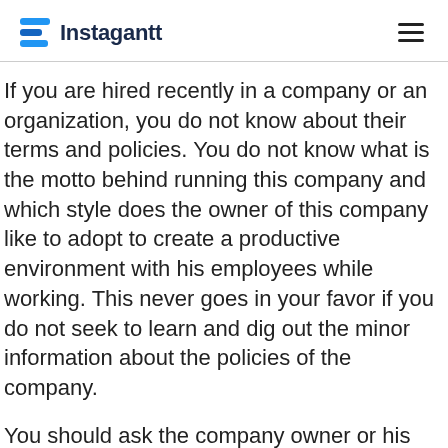Instagantt
If you are hired recently in a company or an organization, you do not know about their terms and policies. You do not know what is the motto behind running this company and which style does the owner of this company like to adopt to create a productive environment with his employees while working. This never goes in your favor if you do not seek to learn and dig out the minor information about the policies of the company.
You should ask the company owner or his personal secretory to provide you a written document in which the policies of the company are completely